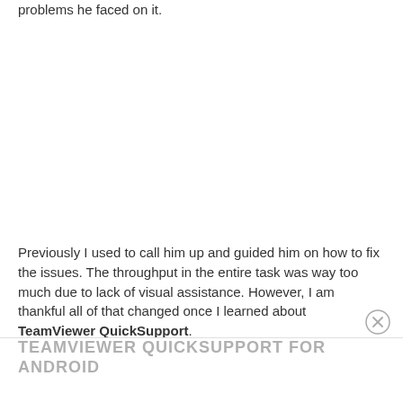problems he faced on it.
Previously I used to call him up and guided him on how to fix the issues. The throughput in the entire task was way too much due to lack of visual assistance. However, I am thankful all of that changed once I learned about TeamViewer QuickSupport.
TEAMVIEWER QUICKSUPPORT FOR ANDROID